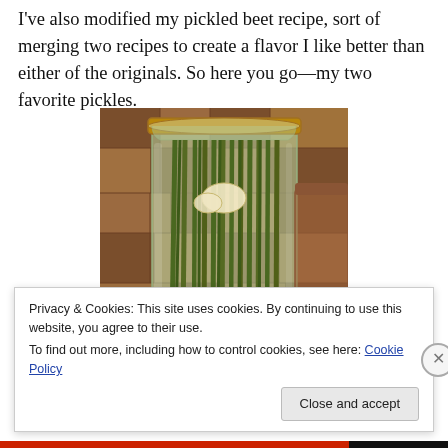I've also modified my pickled beet recipe, sort of merging two recipes to create a flavor I like better than either of the originals. So here you go—my two favorite pickles.
[Figure (photo): A glass mason jar filled with pickled green beans (dilly beans), with garlic visible, set against a wooden cutting board background.]
Privacy & Cookies: This site uses cookies. By continuing to use this website, you agree to their use.
To find out more, including how to control cookies, see here: Cookie Policy